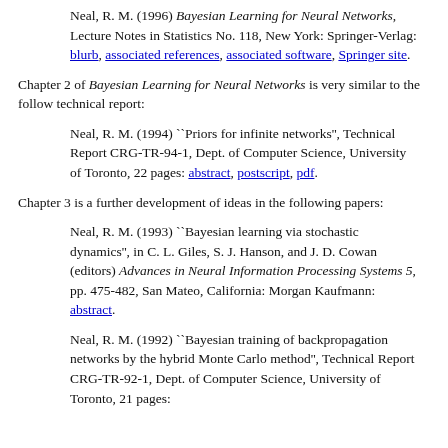Neal, R. M. (1996) Bayesian Learning for Neural Networks, Lecture Notes in Statistics No. 118, New York: Springer-Verlag: blurb, associated references, associated software, Springer site.
Chapter 2 of Bayesian Learning for Neural Networks is very similar to the follow technical report:
Neal, R. M. (1994) ``Priors for infinite networks'', Technical Report CRG-TR-94-1, Dept. of Computer Science, University of Toronto, 22 pages: abstract, postscript, pdf.
Chapter 3 is a further development of ideas in the following papers:
Neal, R. M. (1993) ``Bayesian learning via stochastic dynamics'', in C. L. Giles, S. J. Hanson, and J. D. Cowan (editors) Advances in Neural Information Processing Systems 5, pp. 475-482, San Mateo, California: Morgan Kaufmann: abstract.
Neal, R. M. (1992) ``Bayesian training of backpropagation networks by the hybrid Monte Carlo method'', Technical Report CRG-TR-92-1, Dept. of Computer Science, University of Toronto, 21 pages: